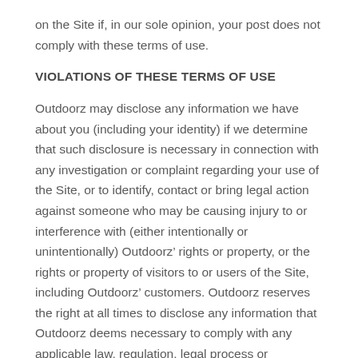on the Site if, in our sole opinion, your post does not comply with these terms of use.
VIOLATIONS OF THESE TERMS OF USE
Outdoorz may disclose any information we have about you (including your identity) if we determine that such disclosure is necessary in connection with any investigation or complaint regarding your use of the Site, or to identify, contact or bring legal action against someone who may be causing injury to or interference with (either intentionally or unintentionally) Outdoorz’ rights or property, or the rights or property of visitors to or users of the Site, including Outdoorz’ customers. Outdoorz reserves the right at all times to disclose any information that Outdoorz deems necessary to comply with any applicable law, regulation, legal process or governmental request.